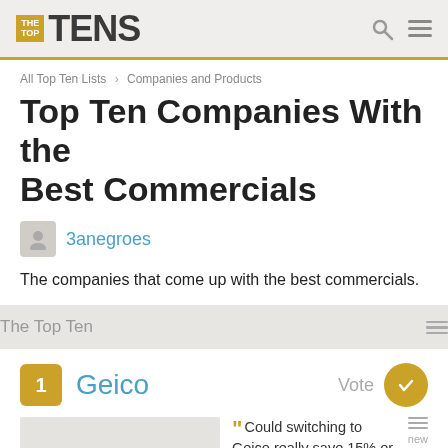THE TOP TENS
All Top Ten Lists › Companies and Products
Top Ten Companies With the Best Commercials
3anegroes
The companies that come up with the best commercials.
The Top Ten
1 Geico — Could switching to Geico really save 15% or more on car
Vote